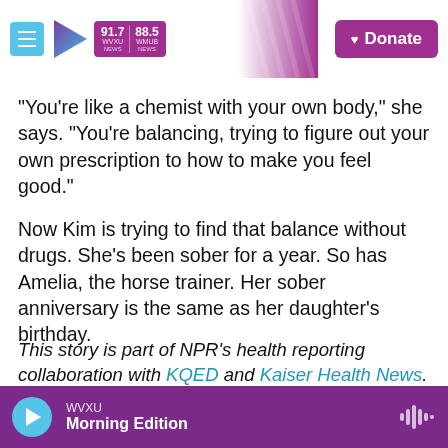WVXU 91.7 NEWS | 88.5 WMUB NEWS | Donate
"You're like a chemist with your own body," she says. "You're balancing, trying to figure out your own prescription to how to make you feel good."
Now Kim is trying to find that balance without drugs. She's been sober for a year. So has Amelia, the horse trainer. Her sober anniversary is the same as her daughter's birthday.
This story is part of NPR's health reporting collaboration with KQED and Kaiser Health News.
WVXU Morning Edition